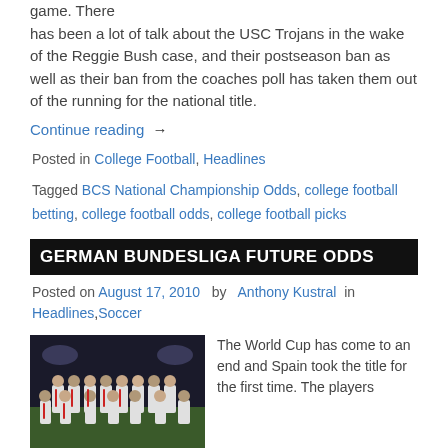game. There has been a lot of talk about the USC Trojans in the wake of the Reggie Bush case, and their postseason ban as well as their ban from the coaches poll has taken them out of the running for the national title.
Continue reading →
Posted in College Football, Headlines
Tagged BCS National Championship Odds, college football betting, college football odds, college football picks
GERMAN BUNDESLIGA FUTURE ODDS
Posted on August 17, 2010  by  Anthony Kustral  in
Headlines,Soccer
[Figure (photo): Team photo of Bayern Munich players in white and red uniforms posed together on a soccer field]
The World Cup has come to an end and Spain took the title for the first time. The players